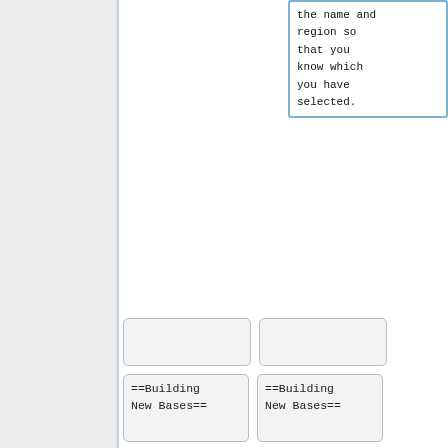the name and region so that you know which you have selected.
[Figure (screenshot): Two empty wiki editor button boxes side by side]
[Figure (screenshot): Two wiki editor code boxes showing '==Building New Bases==']
Revision as of 19:55, 5 March 2007
Viewing an X-COM base will bring up a layout of the currently selected base and a list of commands, your current funds, the base layout and facilities present or in construction, and a reduced view of all eight of your possible bases construction